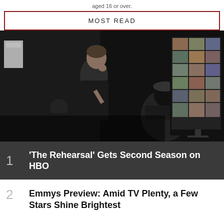aged 16 or over.
MOST READ
[Figure (photo): Behind-the-scenes photo of a TV production set. A young man stands facing a large monitor showing a grid of surveillance or production camera feeds. Camera crew members with equipment are visible in the foreground.]
1 'The Rehearsal' Gets Second Season on HBO
2 Emmys Preview: Amid TV Plenty, a Few Stars Shine Brightest